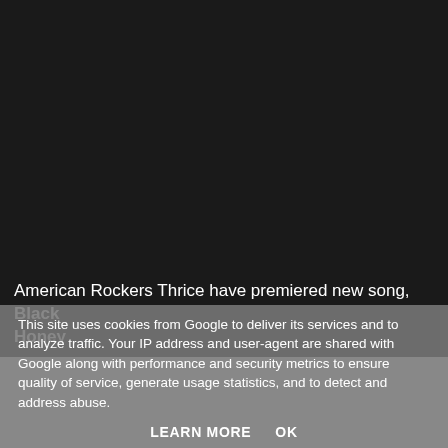[Figure (photo): Dark/black background image area occupying the upper portion of the page, likely a video or image embed with no visible content.]
American Rockers Thrice have premiered new song, Black Honey
This site uses cookies from Google to deliver its services and to analyze traffic. Your IP address and user-agent are shared with Google along with performance and security metrics to ensure quality of service, generate usage statistics, and to detect and address abuse.
LEARN MORE   OK